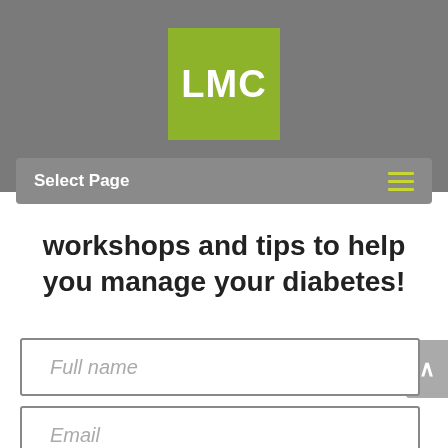[Figure (logo): LMC logo - white bold text on olive/yellow-green square background]
Select Page
workshops and tips to help you manage your diabetes!
Full name
Email
SIGN UP